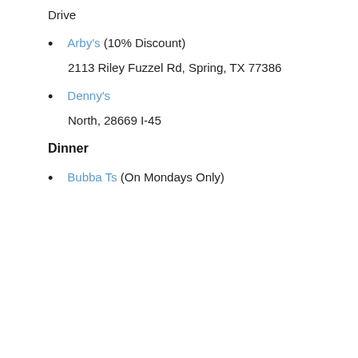Drive
Arby's (10% Discount)
2113 Riley Fuzzel Rd, Spring, TX 77386
Denny's
North, 28669 I-45
Dinner
Bubba Ts (On Mondays Only)